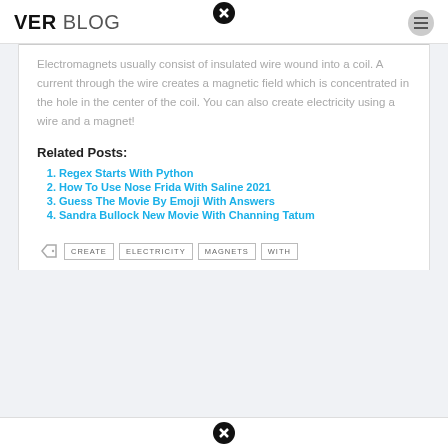VER BLOG
Electromagnets usually consist of insulated wire wound into a coil. A current through the wire creates a magnetic field which is concentrated in the hole in the center of the coil. You can also create electricity using a wire and a magnet!
Related Posts:
Regex Starts With Python
How To Use Nose Frida With Saline 2021
Guess The Movie By Emoji With Answers
Sandra Bullock New Movie With Channing Tatum
CREATE   ELECTRICITY   MAGNETS   WITH